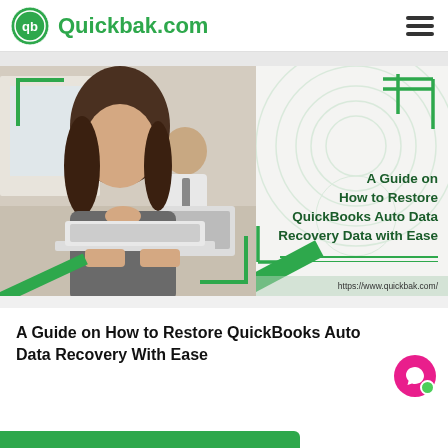Quickbak.com
[Figure (illustration): Hero banner showing a woman working on a laptop in the foreground and a man in background, with green frame decorators. Right panel shows article title text on a light background with decorative swirl pattern, green cross decoration, and URL bar.]
A Guide on How to Restore QuickBooks Auto Data Recovery With Ease